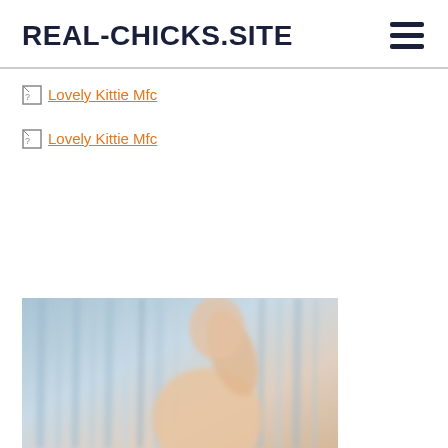REAL-CHICKS.SITE
Lovely Kittie Mfc
Lovely Kittie Mfc
[Figure (photo): Blurred photo of a woman in a shower with curtain backdrop, arm raised, facing sideways]